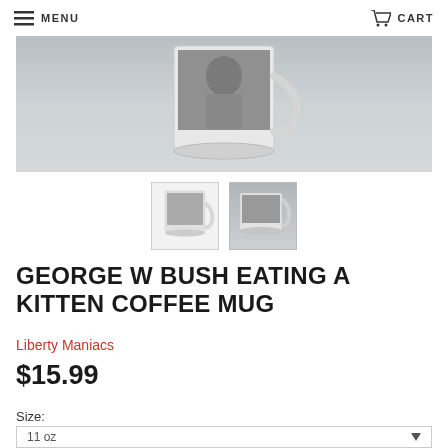MENU  CART
[Figure (photo): Main product photo of a coffee mug with grayscale image printed on it, shown on a gray surface. Bottom portion of mug visible with handle and printed image of a person.]
[Figure (photo): Two thumbnail images of the coffee mug - first showing front view, second showing angled side view on gray background.]
GEORGE W BUSH EATING A KITTEN COFFEE MUG
Liberty Maniacs
$15.99
Size:
11 oz